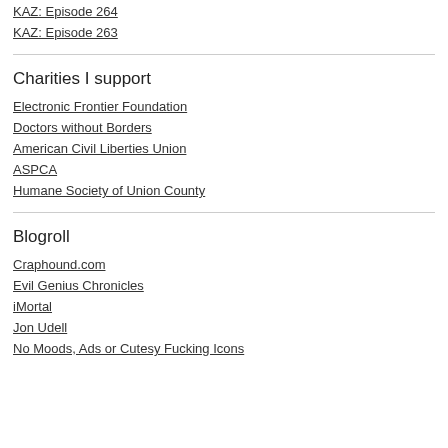KAZ: Episode 264
KAZ: Episode 263
Charities I support
Electronic Frontier Foundation
Doctors without Borders
American Civil Liberties Union
ASPCA
Humane Society of Union County
Blogroll
Craphound.com
Evil Genius Chronicles
iMortal
Jon Udell
No Moods, Ads or Cutesy Fucking Icons